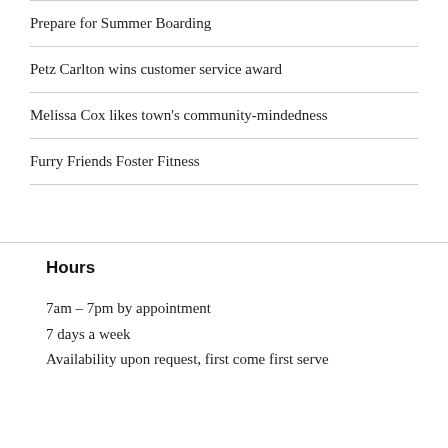Prepare for Summer Boarding
Petz Carlton wins customer service award
Melissa Cox likes town's community-mindedness
Furry Friends Foster Fitness
Hours
7am – 7pm by appointment
7 days a week
Availability upon request, first come first serve